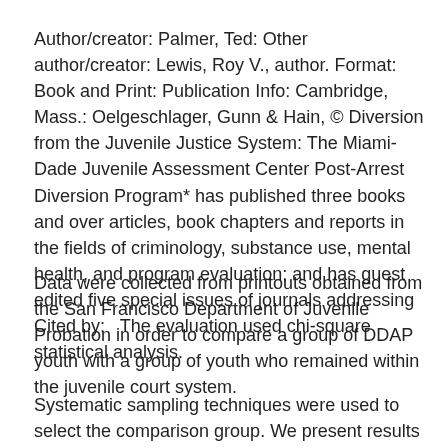Author/creator: Palmer, Ted: Other author/creator: Lewis, Roy V., author. Format: Book and Print: Publication Info: Cambridge, Mass.: Oelgeschlager, Gunn & Hain, © Diversion from the Juvenile Justice System: The Miami-Dade Juvenile Assessment Center Post-Arrest Diversion Program* has published three books and over articles, book chapters and reports in the fields of criminology, substance use, mental health, and program evaluation; and has guest edited five special issues of journals addressing Cited by:   The evaluation used chi-square statistical analysis.
Data were collected from printouts obtained from the San Francisco Department of Juvenile Probation in order to compare a group of DDAP youth with a group of youth who remained within the juvenile court system.
Systematic sampling techniques were used to select the comparison group. We present results of an evaluation of